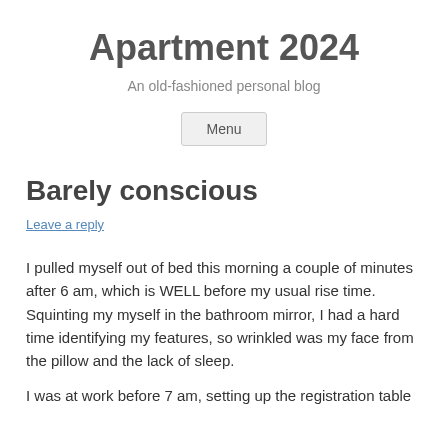Apartment 2024
An old-fashioned personal blog
Menu
Barely conscious
Leave a reply
I pulled myself out of bed this morning a couple of minutes after 6 am, which is WELL before my usual rise time. Squinting my myself in the bathroom mirror, I had a hard time identifying my features, so wrinkled was my face from the pillow and the lack of sleep.
I was at work before 7 am, setting up the registration table